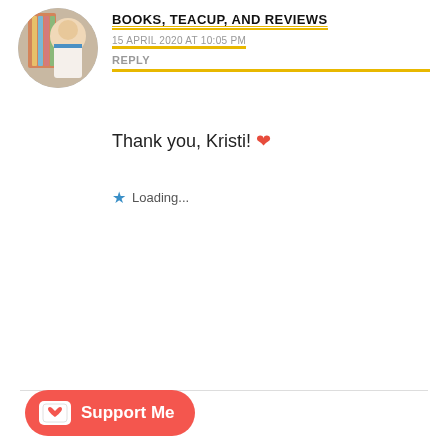[Figure (photo): Avatar of books/teacup user - circular profile picture showing person with bookshelf]
BOOKS, TEACUP, AND REVIEWS
15 APRIL 2020 AT 10:05 PM
REPLY
Thank you, Kristi! ❤️
Loading...
[Figure (photo): Generic grey silhouette avatar placeholder]
CONFESSIONSOFAYAREADER
16 APRIL 2020 AT 2:35 AM
REPLY
You're welcome!
Loading...
[Figure (illustration): Accessibility icon badge - person figure in circle with pink background]
Support Me